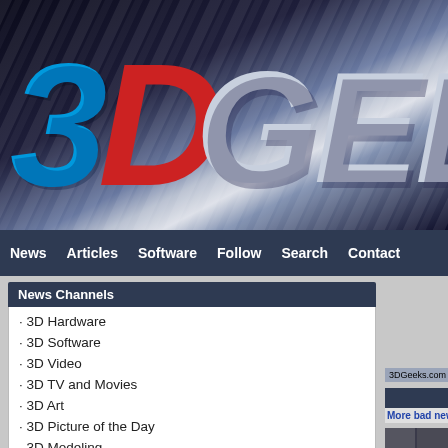[Figure (logo): 3DGeeks website logo banner with '3D' in blue/red 3D block letters and 'GEEKS' in silver/grey metallic italic letters on a dark background with diagonal silver stripes]
News   Articles   Software   Follow   Search   Contact
News Channels
· 3D Hardware
· 3D Software
· 3D Video
· 3D TV and Movies
· 3D Art
· 3D Picture of the Day
· 3D Modeling
· 3D Printing
· Reviews
· Gaming
· How To
· News
· Everything Else
· Off Topic
3DGeeks.com » News
More bad news